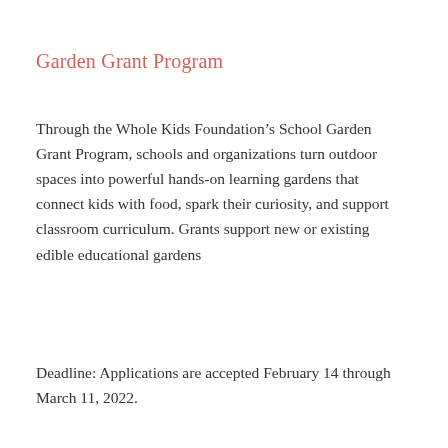Garden Grant Program
Through the Whole Kids Foundation's School Garden Grant Program, schools and organizations turn outdoor spaces into powerful hands-on learning gardens that connect kids with food, spark their curiosity, and support classroom curriculum. Grants support new or existing edible educational gardens
Deadline: Applications are accepted February 14 through March 11, 2022.
Saxena Family Foundation Grants
The Saxena Family Foundation has a particular focus on initiatives that promote US science, technology, engineering, and mathematics (STEM) education and the empowerment of girls, female